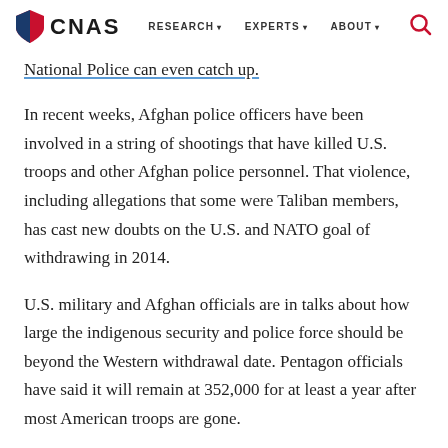CNAS | RESEARCH | EXPERTS | ABOUT
National Police can even catch up.
In recent weeks, Afghan police officers have been involved in a string of shootings that have killed U.S. troops and other Afghan police personnel. That violence, including allegations that some were Taliban members, has cast new doubts on the U.S. and NATO goal of withdrawing in 2014.
U.S. military and Afghan officials are in talks about how large the indigenous security and police force should be beyond the Western withdrawal date. Pentagon officials have said it will remain at 352,000 for at least a year after most American troops are gone.
But looking into 2015, U.S. and Afghan officials believe the